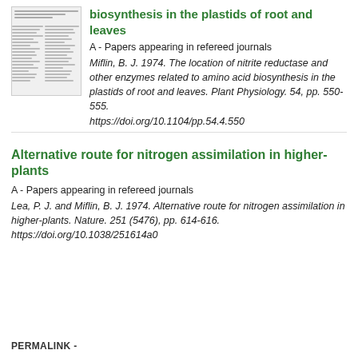[Figure (other): Thumbnail image of a document page showing columnar text]
biosynthesis in the plastids of root and leaves
A - Papers appearing in refereed journals
Miflin, B. J. 1974. The location of nitrite reductase and other enzymes related to amino acid biosynthesis in the plastids of root and leaves. Plant Physiology. 54, pp. 550-555. https://doi.org/10.1104/pp.54.4.550
Alternative route for nitrogen assimilation in higher-plants
A - Papers appearing in refereed journals
Lea, P. J. and Miflin, B. J. 1974. Alternative route for nitrogen assimilation in higher-plants. Nature. 251 (5476), pp. 614-616. https://doi.org/10.1038/251614a0
PERMALINK -